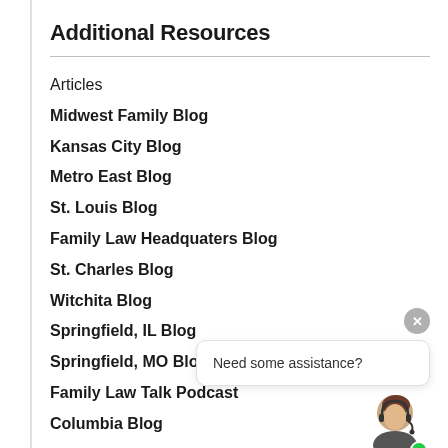Additional Resources
Articles
Midwest Family Blog
Kansas City Blog
Metro East Blog
St. Louis Blog
Family Law Headquaters Blog
St. Charles Blog
Witchita Blog
Springfield, IL Blog
Springfield, MO Blog
Family Law Talk Podcast
Columbia Blog
Need some assistance?